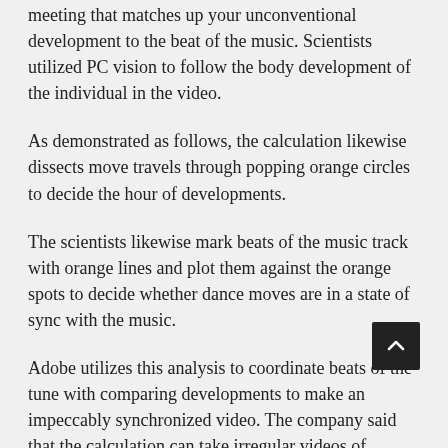meeting that matches up your unconventional development to the beat of the music. Scientists utilized PC vision to follow the body development of the individual in the video.
As demonstrated as follows, the calculation likewise dissects move travels through popping orange circles to decide the hour of developments.
The scientists likewise mark beats of the music track with orange lines and plot them against the orange spots to decide whether dance moves are in a state of sync with the music.
Adobe utilizes this analysis to coordinate beats of the tune with comparing developments to make an impeccably synchronized video. The company said that the calculation can take irregular videos of individuals dancing and sync them with a track, making it seem as though they’re dancing to a similar tune.
While this is only a trial, it could be helpful for makers to video editors. They wouldn’t be astonished in the event that we see such